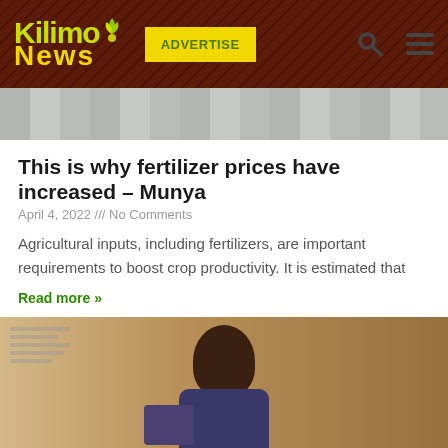Kilimo News — ADVERTISE
[Figure (photo): Banner image showing stacked fertilizer bags (top portion visible)]
This is why fertilizer prices have increased – Munya
April 4, 2022 /// No Comments
Agricultural inputs, including fertilizers, are important requirements to boost crop productivity. It is estimated that
Read more »
[Figure (photo): Photo of a man (Peter Munya) seated, speaking at a press conference with a Kenyan flag in the background]